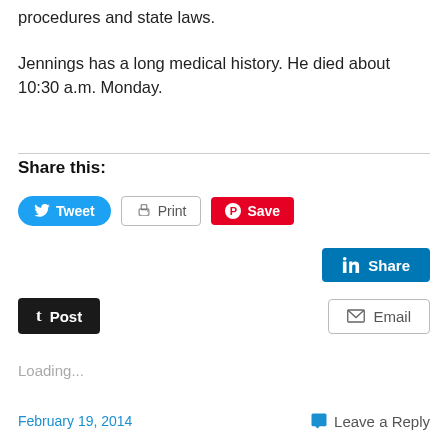procedures and state laws.
Jennings has a long medical history. He died about 10:30 a.m. Monday.
Share this:
Tweet
Print
Save
Share
Post
Email
Loading...
February 19, 2014   Leave a Reply